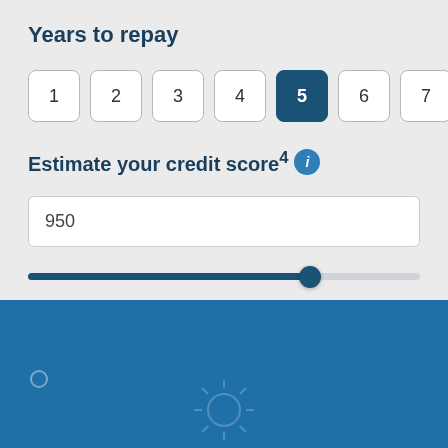Years to repay
1
2
3
4
5 (selected)
6
7
Estimate your credit score⁴
950
An outstanding credit score
[Figure (illustration): Blue footer section with faint sun and circle decorative icons]